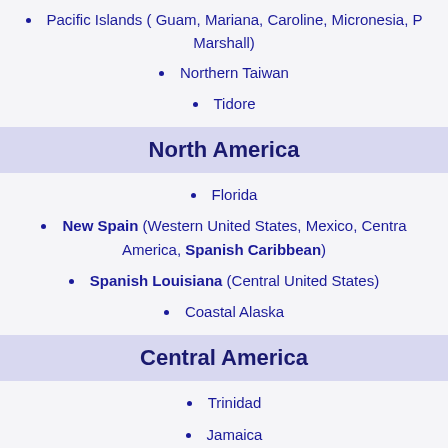Pacific Islands ( Guam, Mariana, Caroline, Micronesia, P... Marshall)
Northern Taiwan
Tidore
North America
Florida
New Spain (Western United States, Mexico, Central America, Spanish Caribbean)
Spanish Louisiana (Central United States)
Coastal Alaska
Central America
Trinidad
Jamaica
Haiti
Aruba